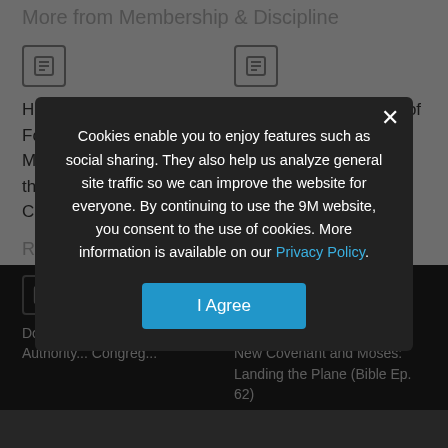More from Membership & Discipline
How Harry Emerson Fosdick's 'Open Membership' Overtook the Northern Baptist Convention
Jesus is Not Ashamed of Subjects of Church Discipline
Recently Added
Do Elders Receive Daily... Authority... Congreg...
Deuteronomy 28:1 On... New Covenant and Moses: Landing the Plane (Bible Ep. 62)
Cookies enable you to enjoy features such as social sharing. They also help us analyze general site traffic so we can improve the website for everyone. By continuing to use the 9M website, you consent to the use of cookies. More information is available on our Privacy Policy.
I Agree